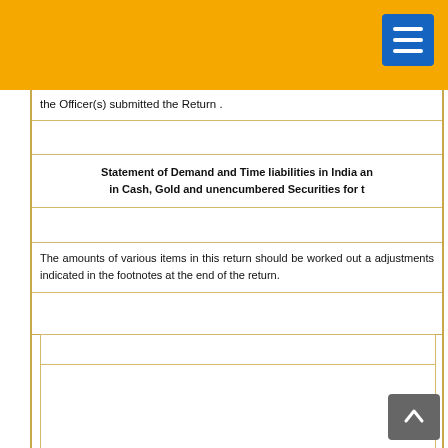the Officer(s) submitted the Return .
Statement of Demand and Time liabilities in India and maintenance in Cash, Gold and unencumbered Securities for t
The amounts of various items in this return should be worked out after adjustments indicated in the footnotes at the end of the return.